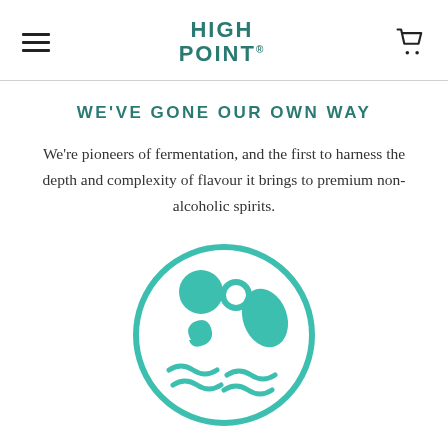HIGH POINT
WE'VE GONE OUR OWN WAY
We're pioneers of fermentation, and the first to harness the depth and complexity of flavour it brings to premium non-alcoholic spirits.
[Figure (illustration): Circular teal icon depicting fermentation imagery: bubbles, a yeast cell, and wavy liquid lines inside a circle outline.]